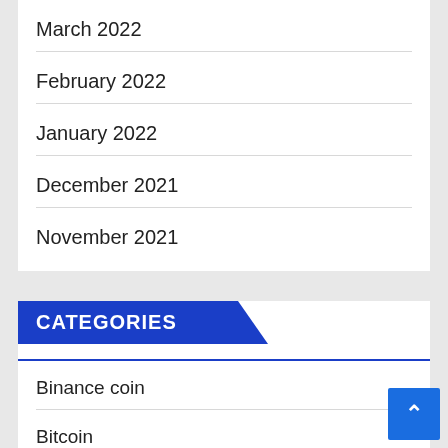March 2022
February 2022
January 2022
December 2021
November 2021
CATEGORIES
Binance coin
Bitcoin